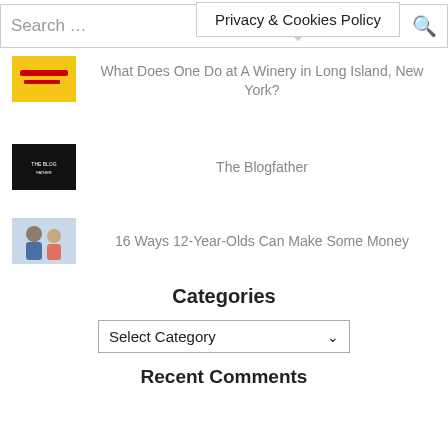Search ...
Privacy & Cookies Policy
What Does One Do at A Winery in Long Island, New York?
[Figure (illustration): Yellow thumbnail image for winery article]
The Blogfather
[Figure (illustration): Black thumbnail image for The Blogfather article]
16 Ways 12-Year-Olds Can Make Some Money
[Figure (photo): Photo thumbnail of two children/teenagers]
Categories
Select Category
Recent Comments